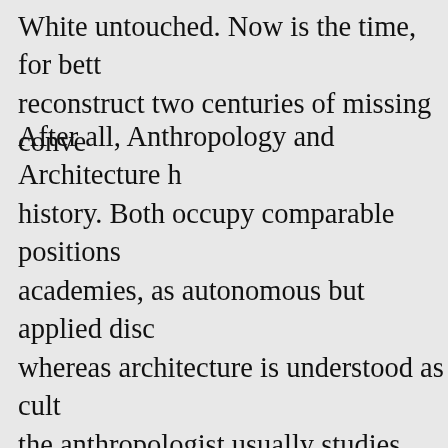White untouched. Now is the time, for bett reconstruct two centuries of missing conve
After all, Anthropology and Architecture h history. Both occupy comparable positions academies, as autonomous but applied disc whereas architecture is understood as cult the anthropologist usually studies cultural phenomena. Perhaps as a result, the anth been permitted limited entry into architect and then often merely for the discussion of such as “shelter,” myths of origin, or verna therefore untheoretical) architecture. This that could be made much more nuanced, a interesting.